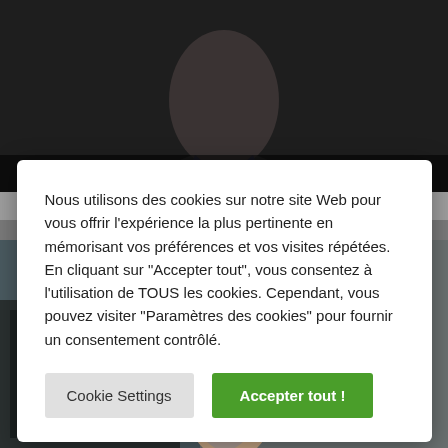[Figure (screenshot): Top portion of a webpage showing a person's photo with comment count 0 and photo count 0 overlaid at the bottom]
Nous utilisons des cookies sur notre site Web pour vous offrir l'expérience la plus pertinente en mémorisant vos préférences et vos visites répétées. En cliquant sur "Accepter tout", vous consentez à l'utilisation de TOUS les cookies. Cependant, vous pouvez visiter "Paramètres des cookies" pour fournir un consentement contrôlé.
Cookie Settings
Accepter tout !
[Figure (screenshot): Bottom portion of a webpage showing a person raising their arm in a room]